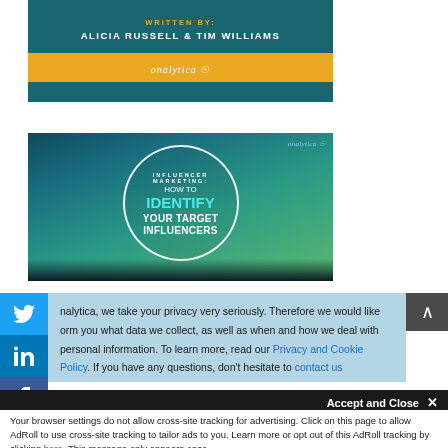[Figure (illustration): Onalytica branded cover image with teal background. Text reads WRITTEN BY: ALICIA RUSSELL & TIM WILLIAMS. Yellow onalytica bar at bottom.]
[Figure (illustration): Onalytica influencer marketing guide cover. Aurora borealis background with circular badge reading: INFLUENCER MARKETING: HOW TO IDENTIFY YOUR TARGET INFLUENCERS. Onalytica logo top right.]
[Figure (illustration): Social media share buttons: Twitter (blue bird), LinkedIn (in), Facebook (f)]
nalytica, we take your privacy very seriously. Therefore we would like orm you what data we collect, as well as when and how we deal with personal information. To learn more, read our Privacy and Cookie Policy. If you have any questions, don't hesitate to contact us
Accept and Close ✕
Your browser settings do not allow cross-site tracking for advertising. Click on this page to allow AdRoll to use cross-site tracking to tailor ads to you. Learn more or opt out of this AdRoll tracking by clicking here. This message only appears once.